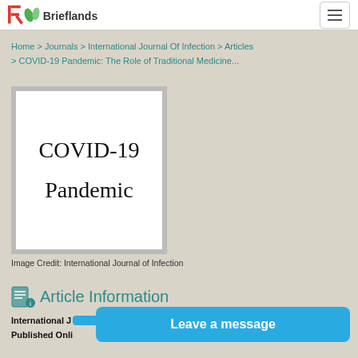Brieflands
Home > Journals > International Journal Of Infection > Articles > COVID-19 Pandemic: The Role of Traditional Medicine...
[Figure (illustration): Book/journal cover image showing 'COVID-19 Pandemic' text on white background with gray border]
Image Credit: International Journal of Infection
Article Information
International J... e 3; e107090
Published Onli...